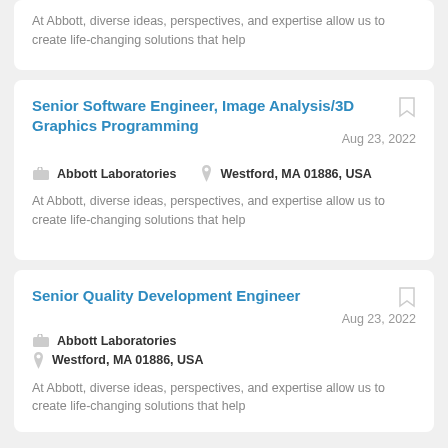At Abbott, diverse ideas, perspectives, and expertise allow us to create life-changing solutions that help
Senior Software Engineer, Image Analysis/3D Graphics Programming
Aug 23, 2022
Abbott Laboratories | Westford, MA 01886, USA
At Abbott, diverse ideas, perspectives, and expertise allow us to create life-changing solutions that help
Senior Quality Development Engineer
Aug 23, 2022
Abbott Laboratories | Westford, MA 01886, USA
At Abbott, diverse ideas, perspectives, and expertise allow us to create life-changing solutions that help